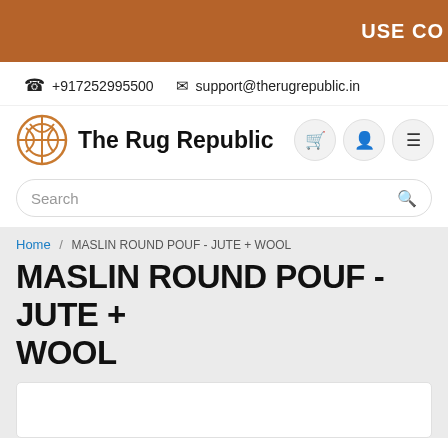USE CO
☎ +917252995500  ✉ support@therugrepublic.in
[Figure (logo): The Rug Republic logo — circular geometric design in orange with text 'The Rug Republic']
Search
Home / MASLIN ROUND POUF - JUTE + WOOL
MASLIN ROUND POUF - JUTE + WOOL